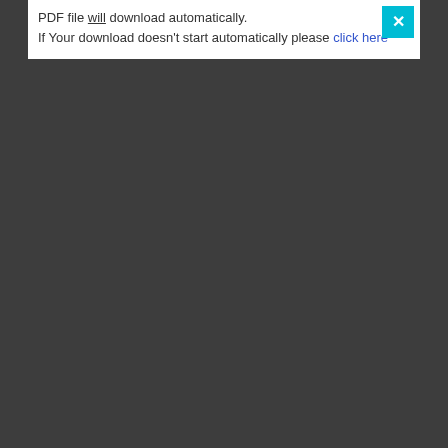PDF file will download automatically.
If Your download doesn't start automatically please click here